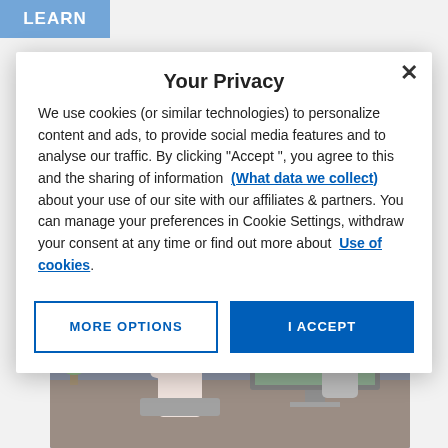[Figure (screenshot): HP website background with LEARN button, faded text about HP PageWide Managed Color Flow MFP E776dn and Managed Print Services, and office photo]
Your Privacy
We use cookies (or similar technologies) to personalize content and ads, to provide social media features and to analyse our traffic. By clicking "Accept ", you agree to this and the sharing of information (What data we collect) about your use of our site with our affiliates & partners. You can manage your preferences in Cookie Settings, withdraw your consent at any time or find out more about Use of cookies.
MORE OPTIONS
I ACCEPT